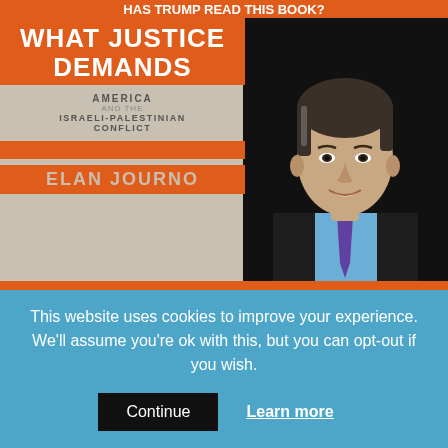[Figure (photo): Book cover of 'What Justice Demands: America and the Israeli-Palestinian Conflict' by Elan Journo, alongside a professional headshot of the author (a man in a dark suit with blue shirt and purple tie)]
ACADEMIC & JOURNALISTIC TOPICS
What Justice Demands: Has Trump Read This Book?
This website uses cookies to improve your experience. We'll assume you're ok with this, but you can opt-out if you wish.
Continue   Learn more